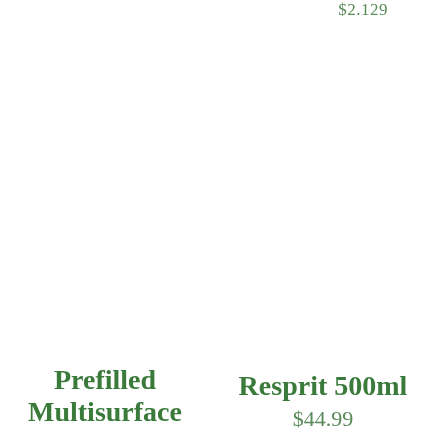$2.129
Prefilled Multisurface
Resprit 500ml
$44.99